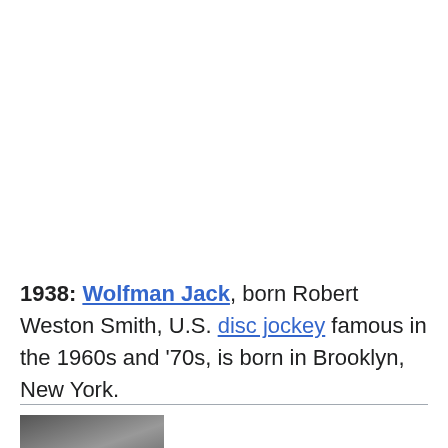1938: Wolfman Jack, born Robert Weston Smith, U.S. disc jockey famous in the 1960s and '70s, is born in Brooklyn, New York.
[Figure (photo): Black and white photograph, partially visible at bottom of page]